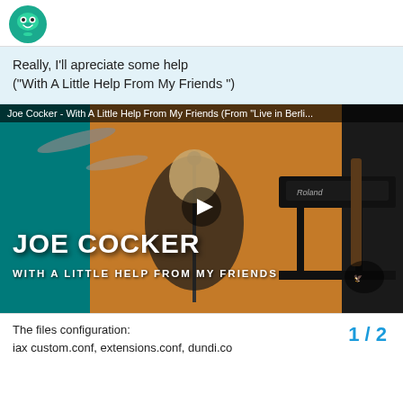[Figure (logo): Green frog chat logo icon]
Really, I'll apreciate some help
("With A Little Help From My Friends ")
[Figure (screenshot): YouTube video thumbnail: Joe Cocker - With A Little Help From My Friends (From "Live in Berli...) showing Joe Cocker performing on stage with text JOE COCKER and WITH A LITTLE HELP FROM MY FRIENDS overlaid, with a play button]
The files configuration:
iax  custom.conf, extensions.conf, dundi.co
1 / 2